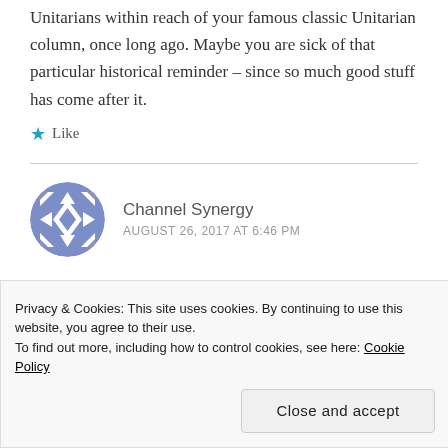Unitarians within reach of your famous classic Unitarian column, once long ago. Maybe you are sick of that particular historical reminder – since so much good stuff has come after it.
★ Like
Channel Synergy
AUGUST 26, 2017 AT 6:46 PM
[Figure (illustration): Circular avatar with blue and white geometric diamond/star pattern]
Privacy & Cookies: This site uses cookies. By continuing to use this website, you agree to their use.
To find out more, including how to control cookies, see here: Cookie Policy
Close and accept